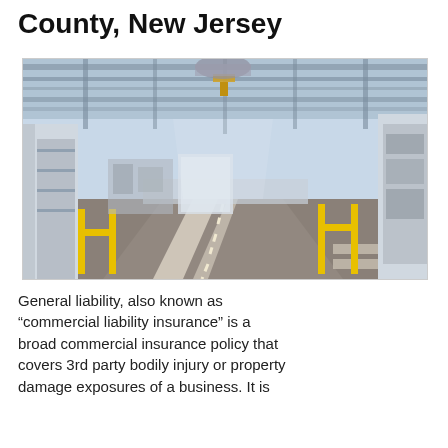County, New Jersey
[Figure (photo): Interior of an industrial manufacturing facility with yellow safety barriers, white lane markings on a concrete floor, metal pipes and ducts overhead, machinery and equipment along the sides, and bright overhead lighting.]
General liability, also known as “commercial liability insurance” is a broad commercial insurance policy that covers 3rd party bodily injury or property damage exposures of a business. It is